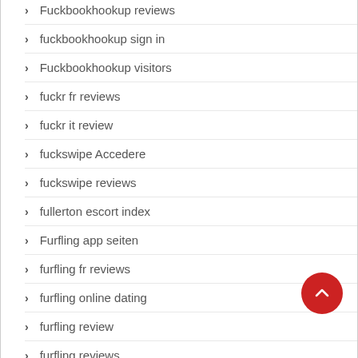Fuckbookhookup reviews
fuckbookhookup sign in
Fuckbookhookup visitors
fuckr fr reviews
fuckr it review
fuckswipe Accedere
fuckswipe reviews
fullerton escort index
Furfling app seiten
furfling fr reviews
furfling online dating
furfling review
furfling reviews
furfling S'inscrire
FurFling visitors
furFetisch dating visitors